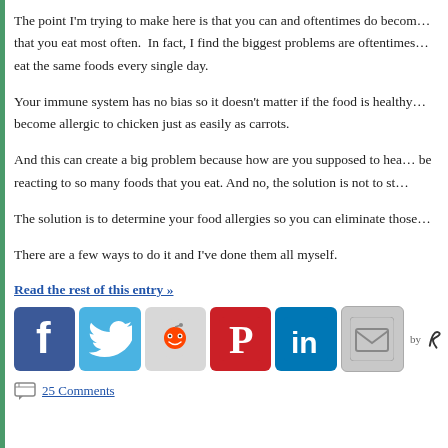The point I'm trying to make here is that you can and oftentimes do become allergic to the foods that you eat most often.  In fact, I find the biggest problems are oftentimes with people who eat the same foods every single day.
Your immune system has no bias so it doesn't matter if the food is healthy or not. You can become allergic to chicken just as easily as carrots.
And this can create a big problem because how are you supposed to heal your gut if your body is be reacting to so many foods that you eat. And no, the solution is not to st…
The solution is to determine your food allergies so you can eliminate those…
There are a few ways to do it and I've done them all myself.
Read the rest of this entry »
[Figure (infographic): Social media share icons: Facebook, Twitter, Reddit, Pinterest, LinkedIn, Email, with 'by' attribution mark]
25 Comments